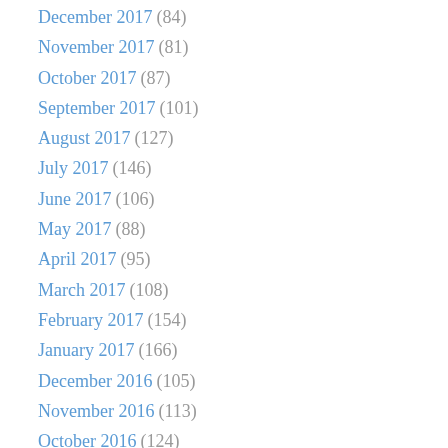December 2017 (84)
November 2017 (81)
October 2017 (87)
September 2017 (101)
August 2017 (127)
July 2017 (146)
June 2017 (106)
May 2017 (88)
April 2017 (95)
March 2017 (108)
February 2017 (154)
January 2017 (166)
December 2016 (105)
November 2016 (113)
October 2016 (124)
September 2016 (143)
August 2016 (114)
July 2016 (146)
June 2016 (133)
May 2016 (116)